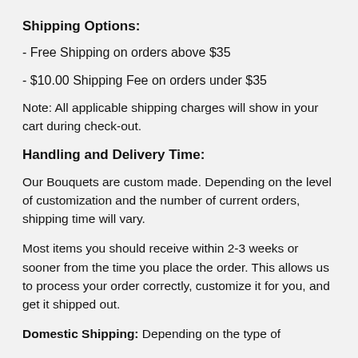Shipping Options:
- Free Shipping on orders above $35
- $10.00 Shipping Fee on orders under $35
Note: All applicable shipping charges will show in your cart during check-out.
Handling and Delivery Time:
Our Bouquets are custom made. Depending on the level of customization and the number of current orders, shipping time will vary.
Most items you should receive within 2-3 weeks or sooner from the time you place the order. This allows us to process your order correctly, customize it for you, and get it shipped out.
Domestic Shipping: Depending on the type of...